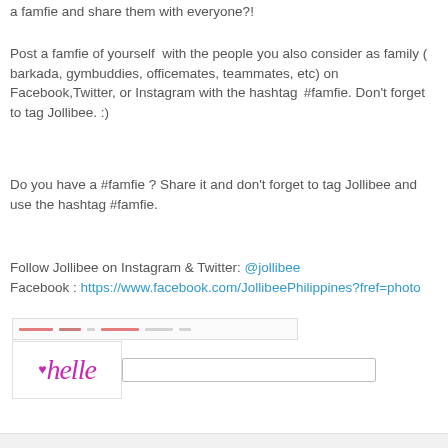a famfie and share them with everyone?!
Post a famfie of yourself  with the people you also consider as family ( barkada, gymbuddies, officemates, teammates, etc) on Facebook,Twitter, or Instagram with the hashtag  #famfie. Don't forget to tag Jollibee. :)
Do you have a #famfie ? Share it and don't forget to tag Jollibee and use the hashtag #famfie.
Follow Jollibee on Instagram & Twitter: @jollibee
Facebook : https://www.facebook.com/JollibeePhilippines?fref=photo
[Figure (screenshot): Screenshot bar with blurred/redacted pink text content]
[Figure (logo): Chelle cursive logo in pink/magenta with small heart icon]